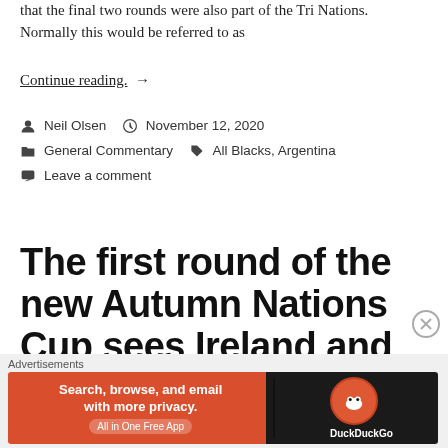that the final two rounds were also part of the Tri Nations. Normally this would be referred to as
Continue reading. →
Neil Olsen  November 12, 2020  General Commentary  All Blacks, Argentina  Leave a comment
The first round of the new Autumn Nations Cup sees Ireland and
[Figure (infographic): DuckDuckGo advertisement banner: 'Search, browse, and email with more privacy. All in One Free App' with DuckDuckGo logo on dark background, orange/red background on left side.]